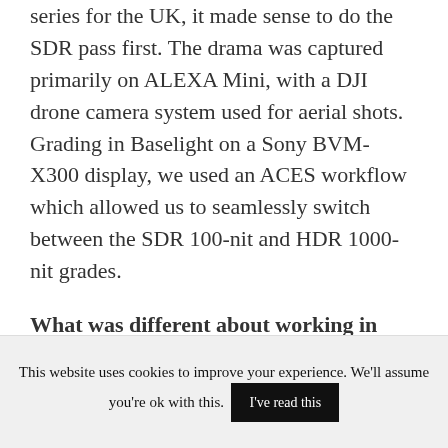series for the UK, it made sense to do the SDR pass first. The drama was captured primarily on ALEXA Mini, with a DJI drone camera system used for aerial shots. Grading in Baselight on a Sony BVM-X300 display, we used an ACES workflow which allowed us to seamlessly switch between the SDR 100-nit and HDR 1000-nit grades.
What was different about working in HDR compared to SDR? Working in HDR gives access to a greater range of contrast and colour. Highlights can be significantly brighter, allowing more contrast in cloudy
This website uses cookies to improve your experience. We'll assume you're ok with this. I've read this